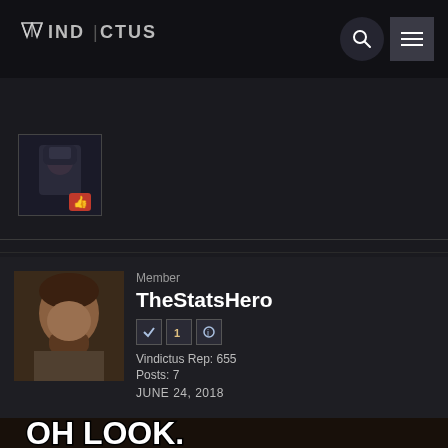VINDICTUS
[Figure (screenshot): Small game character avatar thumbnail in top-left of hero area]
Member
TheStatsHero
Vindictus Rep: 655
Posts: 7
JUNE 24, 2018
[Figure (photo): Meme image showing a man's face in a dark room with large white bold text reading OH LOOK.]